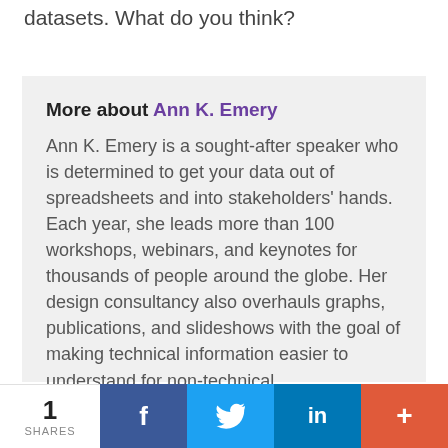datasets. What do you think?
More about Ann K. Emery
Ann K. Emery is a sought-after speaker who is determined to get your data out of spreadsheets and into stakeholders' hands. Each year, she leads more than 100 workshops, webinars, and keynotes for thousands of people around the globe. Her design consultancy also overhauls graphs, publications, and slideshows with the goal of making technical information easier to understand for non-technical audiences.
1 SHARES  f  in  +